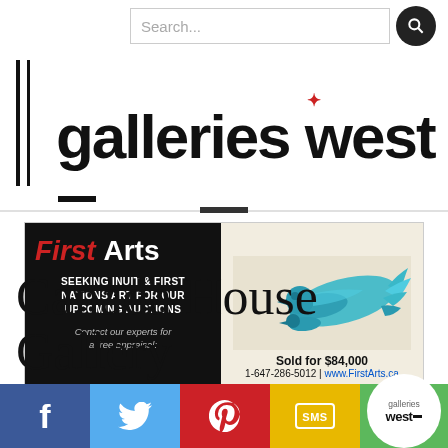gallerieswest
[Figure (screenshot): First Arts advertisement banner: left side black background with 'First Arts' logo in red/white, text 'SEEKING INUIT & FIRST NATIONS ART FOR OUR UPCOMING AUCTIONS Contact our experts for a free appraisal:'; right side beige background with teal/blue bird artwork image, 'Sold for $84,000', '1-647-286-5012 | www.FirstArts.ca']
Canada House Gallery
201 Bear Street (PO Box 1570), Banff,
Facebook | Twitter | Pinterest | SMS | gallerieswest